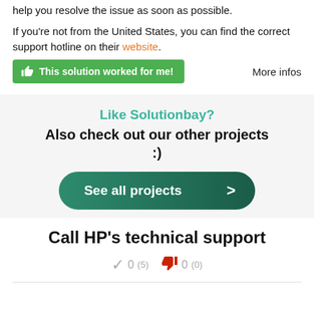help you resolve the issue as soon as possible.
If you're not from the United States, you can find the correct support hotline on their website.
This solution worked for me!    More infos
Like Solutionbay?
Also check out our other projects :)
See all projects >
Call HP's technical support
✓ 0 (5)   👎 0 (0)